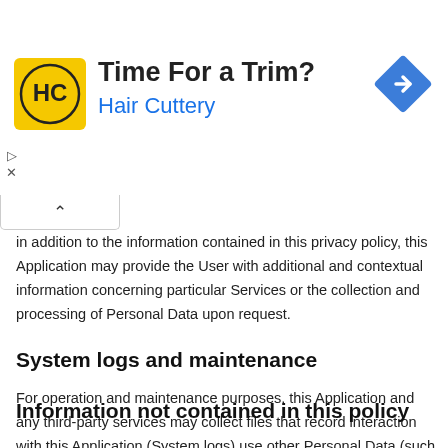[Figure (other): Advertisement banner for Hair Cuttery with logo, tagline 'Time For a Trim?' and a blue diamond navigation arrow icon]
in addition to the information contained in this privacy policy, this Application may provide the User with additional and contextual information concerning particular Services or the collection and processing of Personal Data upon request.
System logs and maintenance
For operation and maintenance purposes, this Application and any third-party services may collect files that record interaction with this Application (System logs) use other Personal Data (such as the IP Address) for this purpose.
Information not contained in this policy